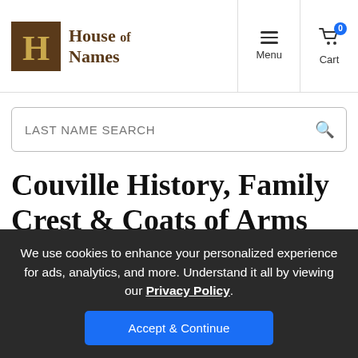House of Names
LAST NAME SEARCH
Couville History, Family Crest & Coats of Arms
Origins Available: England
We use cookies to enhance your personalized experience for ads, analytics, and more. Understand it all by viewing our Privacy Policy.
Accept & Continue